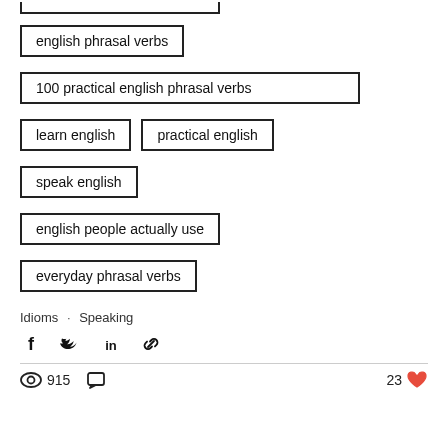english phrasal verbs
100 practical english phrasal verbs
learn english
practical english
speak english
english people actually use
everyday phrasal verbs
Idioms · Speaking
Share via Facebook, Twitter, LinkedIn, Link
915 views, 0 comments, 23 likes